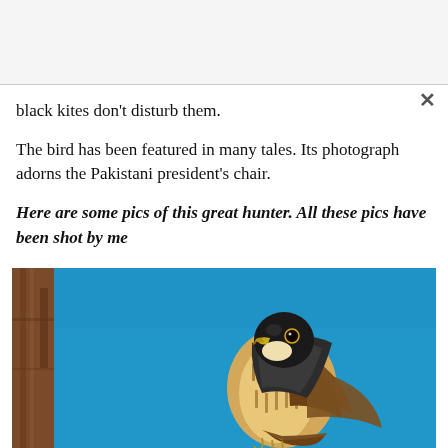black kites don't disturb them.
The bird has been featured in many tales. Its photograph adorns the Pakistani president's chair.
Here are some pics of this great hunter. All these pics have been shot by me
[Figure (photo): A peregrine falcon perched against a bright blue sky background, with a tree trunk or branch visible on the left side. The falcon has a dark head, yellow beak, and speckled brown/cream patterned breast feathers.]